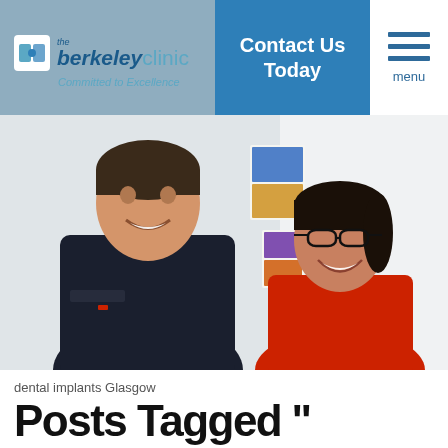[Figure (logo): The Berkeley Clinic logo with tagline 'Committed to Excellence']
Contact Us Today
[Figure (photo): A smiling male dentist in dark scrubs and a female patient in red top laughing together in a dental clinic setting.]
dental implants Glasgow
Posts Tagged '' What Are The Benefits Of Dental Implants?